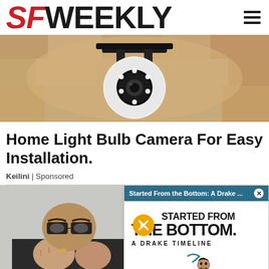SF WEEKLY
[Figure (photo): Security camera shaped like a light bulb mounted on a metal bracket against a stone/concrete wall]
Home Light Bulb Camera For Easy Installation.
Keilini | Sponsored
[Figure (screenshot): Video popup overlay with teal header reading 'Started From the Bottom: A Drake ...' with X close button, and content showing 'STARTED FROM THE BOTTOM A DRAKE TIMELINE' text with mute button icon and Drake face illustration]
[Figure (photo): Man with glasses peeking over his hands/fists, partially visible on the left side]